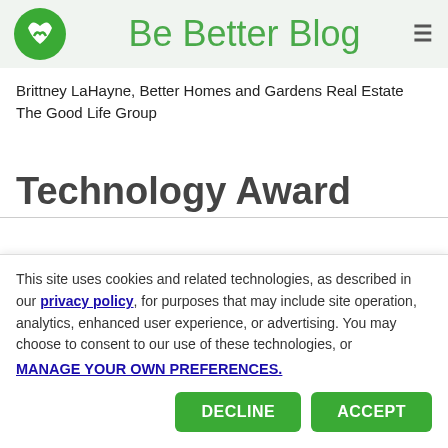Be Better Blog
Brittney LaHayne, Better Homes and Gardens Real Estate The Good Life Group
Technology Award
This site uses cookies and related technologies, as described in our privacy policy, for purposes that may include site operation, analytics, enhanced user experience, or advertising. You may choose to consent to our use of these technologies, or MANAGE YOUR OWN PREFERENCES.